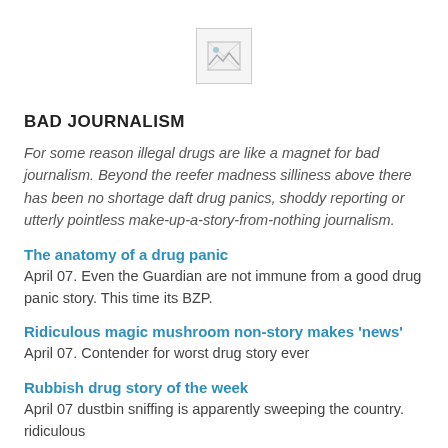[Figure (other): Broken image placeholder icon — a small box with a torn image icon]
BAD JOURNALISM
For some reason illegal drugs are like a magnet for bad journalism. Beyond the reefer madness silliness above there has been no shortage daft drug panics, shoddy reporting or utterly pointless make-up-a-story-from-nothing journalism.
The anatomy of a drug panic
April 07. Even the Guardian are not immune from a good drug panic story. This time its BZP.
Ridiculous magic mushroom non-story makes 'news'
April 07. Contender for worst drug story ever
Rubbish drug story of the week
April 07 dustbin sniffing is apparently sweeping the country. ridiculous